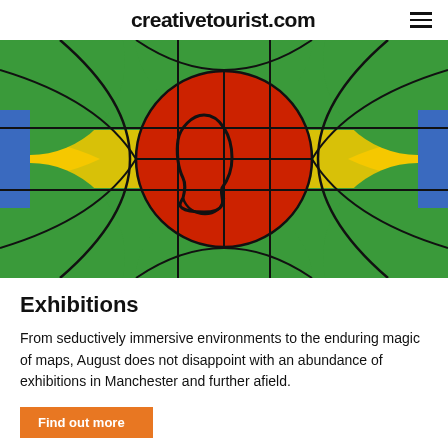creativetourist.com
[Figure (illustration): Colorful stained-glass style artwork featuring a human head silhouette in red at the center, surrounded by geometric shapes in green, yellow, and blue with bold black outlines.]
Exhibitions
From seductively immersive environments to the enduring magic of maps, August does not disappoint with an abundance of exhibitions in Manchester and further afield.